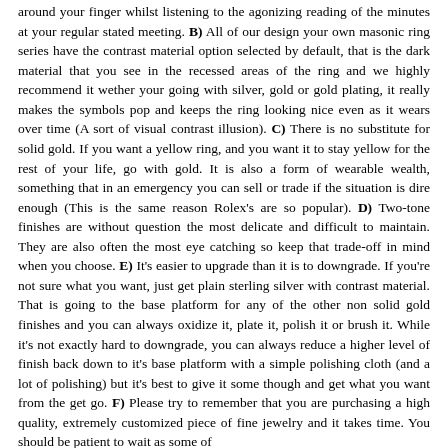around your finger whilst listening to the agonizing reading of the minutes at your regular stated meeting. B) All of our design your own masonic ring series have the contrast material option selected by default, that is the dark material that you see in the recessed areas of the ring and we highly recommend it wether your going with silver, gold or gold plating, it really makes the symbols pop and keeps the ring looking nice even as it wears over time (A sort of visual contrast illusion). C) There is no substitute for solid gold. If you want a yellow ring, and you want it to stay yellow for the rest of your life, go with gold. It is also a form of wearable wealth, something that in an emergency you can sell or trade if the situation is dire enough (This is the same reason Rolex's are so popular). D) Two-tone finishes are without question the most delicate and difficult to maintain. They are also often the most eye catching so keep that trade-off in mind when you choose. E) It's easier to upgrade than it is to downgrade. If you're not sure what you want, just get plain sterling silver with contrast material. That is going to the base platform for any of the other non solid gold finishes and you can always oxidize it, plate it, polish it or brush it. While it's not exactly hard to downgrade, you can always reduce a higher level of finish back down to it's base platform with a simple polishing cloth (and a lot of polishing) but it's best to give it some though and get what you want from the get go. F) Please try to remember that you are purchasing a high quality, extremely customized piece of fine jewelry and it takes time. You should be patient to wait as some of